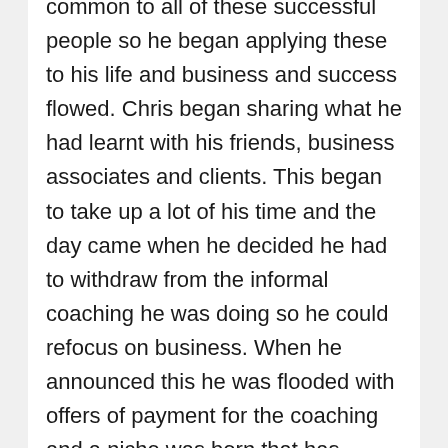Chris discovered a core of habits that were common to all of these successful people so he began applying these to his life and business and success flowed. Chris began sharing what he had learnt with his friends, business associates and clients. This began to take up a lot of his time and the day came when he decided he had to withdraw from the informal coaching he was doing so he could refocus on business. When he announced this he was flooded with offers of payment for the coaching and a niche was born that has grown into a full time business that Chris loves, sharing his expertise as he helps people improve their lives.